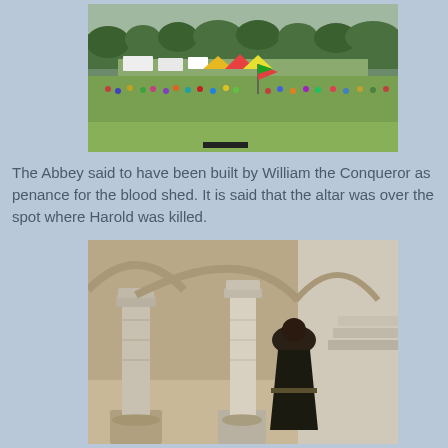[Figure (photo): Outdoor historical re-enactment scene on a large green field with many people in medieval/colourful costumes, caravans and tents in the background, trees on the horizon, under an overcast sky.]
The Abbey said to have been built by William the Conqueror as penance for the blood shed. It is said that the altar was over the spot where Harold was killed.
[Figure (photo): Interior of a medieval stone abbey or cloister with tall stone columns and gothic arches. A figure dressed in a dark monk's habit stands between two columns, viewed from behind. Sandy floor, steps visible in the background on the right.]